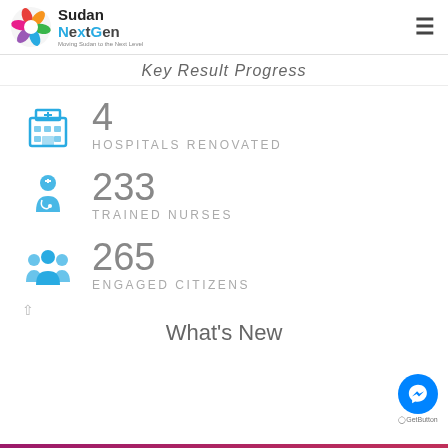Sudan NextGen — Moving Sudan to the Next Level
Key Result Progress
4
HOSPITALS RENOVATED
233
TRAINED NURSES
265
ENGAGED CITIZENS
What's New